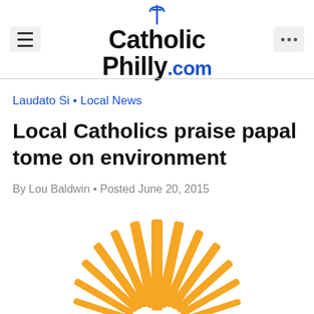CatholicPhilly.com
Laudato Si • Local News
Local Catholics praise papal tome on environment
By Lou Baldwin • Posted June 20, 2015
[Figure (illustration): Stylized golden/orange sun rays radiating upward in a fan pattern, partially visible at the bottom of the page]